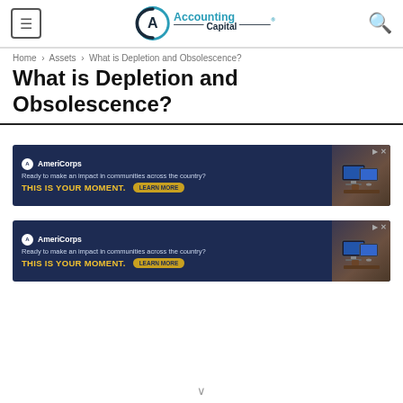Accounting Capital — site header with menu, logo, and search icons
Home › Assets › What is Depletion and Obsolescence?
What is Depletion and Obsolescence?
[Figure (screenshot): AmeriCorps advertisement banner: dark navy background, AmeriCorps logo, text 'Ready to make an impact in communities across the country? THIS IS YOUR MOMENT.' with a yellow LEARN MORE button, and an image of people at computers on the right.]
[Figure (screenshot): AmeriCorps advertisement banner (duplicate): dark navy background, AmeriCorps logo, text 'Ready to make an impact in communities across the country? THIS IS YOUR MOMENT.' with a yellow LEARN MORE button, and an image of people at computers on the right.]